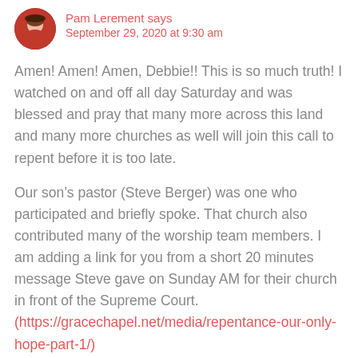[Figure (photo): Circular avatar photo of a woman in a red/pink top]
Pam Lerement says
September 29, 2020 at 9:30 am
Amen! Amen! Amen, Debbie!! This is so much truth! I watched on and off all day Saturday and was blessed and pray that many more across this land and many more churches as well will join this call to repent before it is too late.
Our son’s pastor (Steve Berger) was one who participated and briefly spoke. That church also contributed many of the worship team members. I am adding a link for you from a short 20 minutes message Steve gave on Sunday AM for their church in front of the Supreme Court. (https://gracechapel.net/media/repentance-our-only-hope-part-1/)